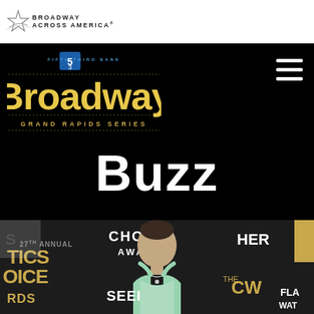[Figure (logo): Broadway Across America logo with star icon and text]
[Figure (logo): Fifth Third Bank Broadway Grand Rapids Series logo on black background]
Buzz
[Figure (photo): Woman in mint green dress at Critics Choice Awards red carpet backdrop]